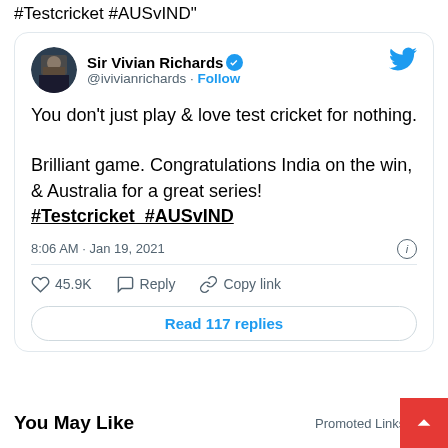#Testcricket #AUSvIND"
[Figure (screenshot): Screenshot of a tweet by Sir Vivian Richards (@ivivianrichards) with verified badge. Tweet text: 'You don't just play & love test cricket for nothing. Brilliant game. Congratulations India on the win, & Australia for a great series! #Testcricket #AUSvIND'. Posted 8:06 AM · Jan 19, 2021. 45.9K likes. Reply. Copy link. Read 117 replies button.]
You May Like
Promoted Links by T